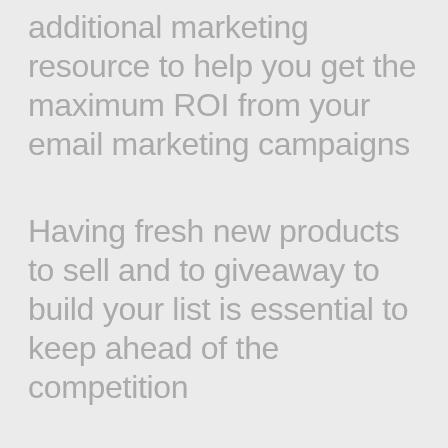additional marketing resource to help you get the maximum ROI from your email marketing campaigns
Having fresh new products to sell and to giveaway to build your list is essential to keep ahead of the competition
You can of course create your own products which we hope you do if not now, certainly in the near future because